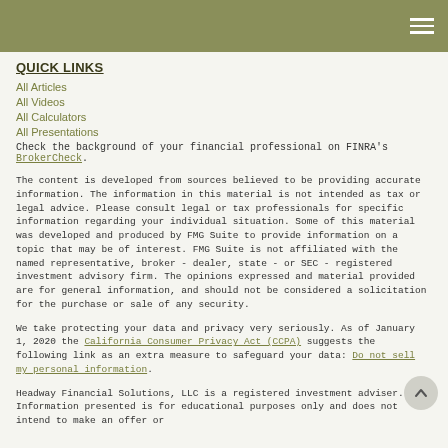Navigation header with hamburger menu
QUICK LINKS
All Articles
All Videos
All Calculators
All Presentations
Check the background of your financial professional on FINRA's BrokerCheck.
The content is developed from sources believed to be providing accurate information. The information in this material is not intended as tax or legal advice. Please consult legal or tax professionals for specific information regarding your individual situation. Some of this material was developed and produced by FMG Suite to provide information on a topic that may be of interest. FMG Suite is not affiliated with the named representative, broker - dealer, state - or SEC - registered investment advisory firm. The opinions expressed and material provided are for general information, and should not be considered a solicitation for the purchase or sale of any security.
We take protecting your data and privacy very seriously. As of January 1, 2020 the California Consumer Privacy Act (CCPA) suggests the following link as an extra measure to safeguard your data: Do not sell my personal information.
Headway Financial Solutions, LLC is a registered investment adviser.  Information presented is for educational purposes only and does not intend to make an offer or